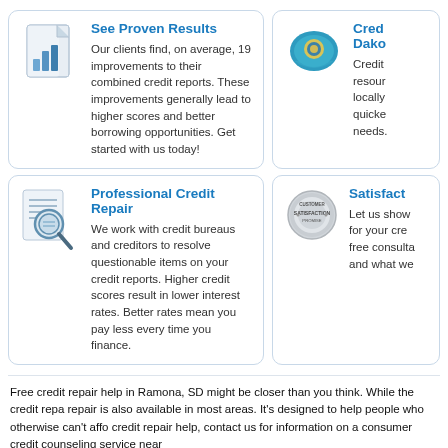See Proven Results
Our clients find, on average, 19 improvements to their combined credit reports. These improvements generally lead to higher scores and better borrowing opportunities. Get started with us today!
Cred Dako
Credit resour locally quicke needs.
Professional Credit Repair
We work with credit bureaus and creditors to resolve questionable items on your credit reports. Higher credit scores result in lower interest rates. Better rates mean you pay less every time you finance.
Satisfact
Let us show for your cre free consulta and what we
Free credit repair help in Ramona, SD might be closer than you think. While the credit repa repair is also available in most areas. It's designed to help people who otherwise can't affo credit repair help, contact us for information on a consumer credit counseling service near
The issue of national consumer credit repair is becoming more and more urgent in our pre meet while being asked to bail out financial institutions that have been taking advantage o getting richer while the rest of us suffer. But you can do your part to stop the cycle. Don't b income.